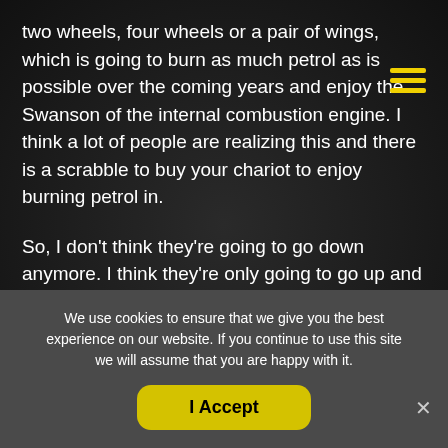two wheels, four wheels or a pair of wings, which is going to burn as much petrol as is possible over the coming years and enjoy the Swanson of the internal combustion engine. I think a lot of people are realizing this and there is a scrabble to buy your chariot to enjoy burning petrol in.
So, I don't think they're going to go down anymore. I think they're only going to go up and how long they go up for is dependent on all of those external factors that I mentioned earlier. But unfortunately, I think we're going to see the day where very upsettingly cars like this will be confined to. Maybe race tracks take them out for a track day because they're just
We use cookies to ensure that we give you the best experience on our website. If you continue to use this site we will assume that you are happy with it.